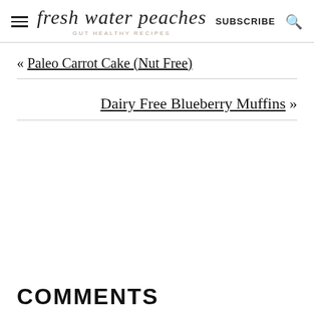fresh water peaches — GUT HEALTHY RECIPES | SUBSCRIBE
« Paleo Carrot Cake (Nut Free)
Dairy Free Blueberry Muffins »
COMMENTS